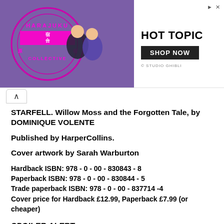[Figure (screenshot): Advertisement banner for Hot Topic featuring Harajuku Collective branding with anime-style characters on purple background, and Hot Topic logo with 'SHOP NOW' button and '© STUDIO GHIBLI' text]
STARFELL. Willow Moss and the Forgotten Tale, by DOMINIQUE VOLENTE
Published by HarperCollins.
Cover artwork by Sarah Warburton
Hardback ISBN: 978 - 0 - 00 - 830843 - 8
Paperback ISBN: 978 - 0 - 00 - 830844 - 5
Trade paperback ISBN: 978 - 0 - 00 - 837714 -4
Cover price for Hardback £12.99, Paperback £7.99 (or cheaper)
SPOILER ALERT